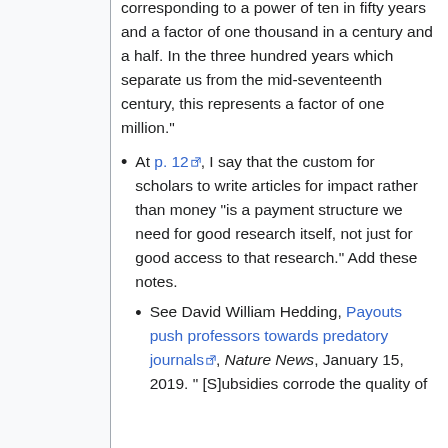corresponding to a power of ten in fifty years and a factor of one thousand in a century and a half. In the three hundred years which separate us from the mid-seventeenth century, this represents a factor of one million."
At p. 12, I say that the custom for scholars to write articles for impact rather than money "is a payment structure we need for good research itself, not just for good access to that research." Add these notes.
See David William Hedding, Payouts push professors towards predatory journals, Nature News, January 15, 2019. "[S]ubsidies corrode the quality of